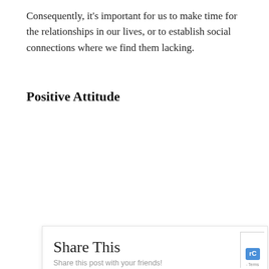Consequently, it's important for us to make time for the relationships in our lives, or to establish social connections where we find them lacking.
Positive Attitude
[Figure (screenshot): A social sharing dialog box with title 'Share This', subtitle 'Share this post with your friends!', and four share buttons: Facebook (dark blue), Twitter (light blue), Google+ (orange-red), and Pinterest (dark red). A close (×) button appears in the top-right corner.]
- Terms